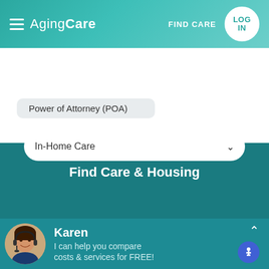AgingCare — FIND CARE  LOG IN
Power of Attorney (POA)
This question has been closed for answers. Ask a New Question.
Find Care & Housing
In-Home Care
Karen — I can help you compare costs & services for FREE!